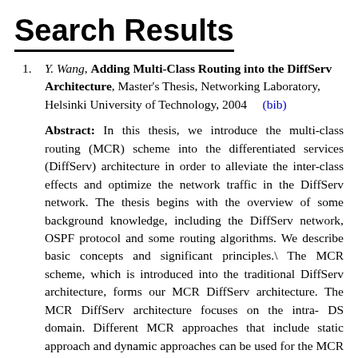Search Results
Y. Wang, Adding Multi-Class Routing into the DiffServ Architecture, Master's Thesis, Networking Laboratory, Helsinki University of Technology, 2004 (bib)
Abstract: In this thesis, we introduce the multi-class routing (MCR) scheme into the differentiated services (DiffServ) architecture in order to alleviate the inter-class effects and optimize the network traffic in the DiffServ network. The thesis begins with the overview of some background knowledge, including the DiffServ network, OSPF protocol and some routing algorithms. We describe basic concepts and significant principles.\ The MCR scheme, which is introduced into the traditional DiffServ architecture, forms our MCR DiffServ architecture. The MCR DiffServ architecture focuses on the intra- DS domain. Different MCR approaches that include static approach and dynamic approaches can be used for the MCR DiffServ system. Compared to a